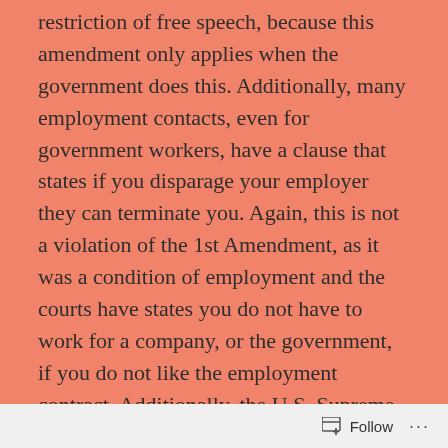restriction of free speech, because this amendment only applies when the government does this. Additionally, many employment contacts, even for government workers, have a clause that states if you disparage your employer they can terminate you.  Again, this is not a violation of the 1st Amendment, as it was a condition of employment and the courts have states you do not have to work for a company, or the government, if you do not like the employment contract. Additionally, the U.S. Supreme Court has ruled that students do not have full use of this amendment while they are in a school (ex. editors can modify school newspapers, illegal drugs cannot be promoted at a
Follow ...